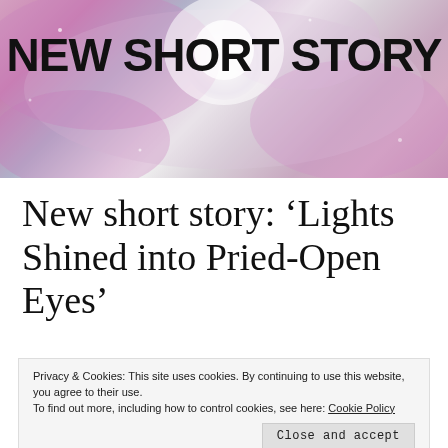[Figure (illustration): Banner image with swirling pink and grey smoke/cloud background with a bright white glow in the center, overlaid with bold black text reading NEW SHORT STORY]
New short story: ‘Lights Shined into Pried-Open Eyes’
Privacy & Cookies: This site uses cookies. By continuing to use this website, you agree to their use.
To find out more, including how to control cookies, see here: Cookie Policy
Close and accept